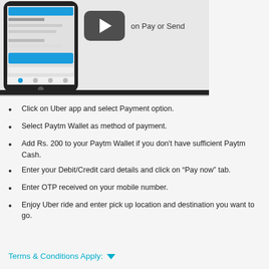[Figure (screenshot): Screenshot of a mobile phone showing a payment app UI, alongside a YouTube-style video play button with text 'on Pay or Send']
Click on Uber app and select Payment option.
Select Paytm Wallet as method of payment.
Add Rs. 200 to your Paytm Wallet if you don't have sufficient Paytm Cash.
Enter your Debit/Credit card details and click on “Pay now” tab.
Enter OTP received on your mobile number.
Enjoy Uber ride and enter pick up location and destination you want to go.
Terms & Conditions Apply: